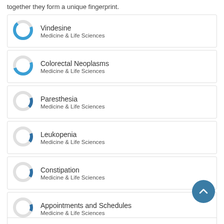together they form a unique fingerprint.
Vindesine — Medicine & Life Sciences
Colorectal Neoplasms — Medicine & Life Sciences
Paresthesia — Medicine & Life Sciences
Leukopenia — Medicine & Life Sciences
Constipation — Medicine & Life Sciences
Appointments and Schedules — Medicine & Life Sciences